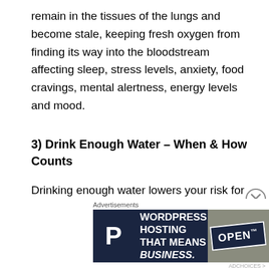remain in the tissues of the lungs and become stale, keeping fresh oxygen from finding its way into the bloodstream affecting sleep, stress levels, anxiety, food cravings, mental alertness, energy levels and mood.
3) Drink Enough Water – When & How Counts
Drinking enough water lowers your risk for certain types of cancers, helps to fight infections, helps get rid of bodily toxins by flushing them out, aids in skin health, helps to lose weight, prevents joint pain and arthritis and boost energy. How much water
[Figure (other): Advertisement banner: WordPress Hosting That Means Business. with a P logo and an OPEN sign image.]